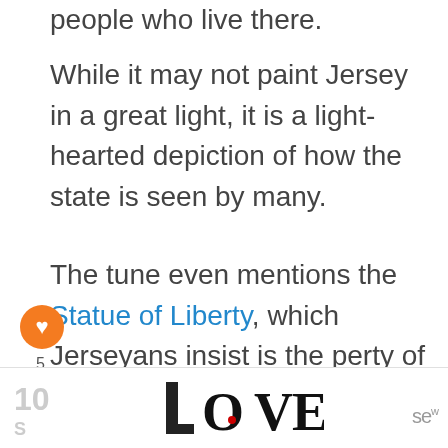people who live there.
While it may not paint Jersey in a great light, it is a light-hearted depiction of how the state is seen by many.
The tune even mentions the Statue of Liberty, which Jerseyans insist is the property of NJ, not New York. Murray goes on to say that while she might belong to [New Jerse]y, she faces New York.
[Figure (other): LOVE decorative text/logo image at bottom center of page]
[Figure (other): Sem brand logo at bottom right of page]